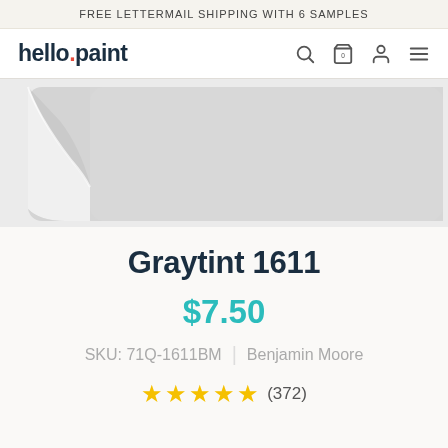FREE LETTERMAIL SHIPPING WITH 6 SAMPLES
[Figure (logo): hello.paint logo with red dot, navigation icons for search, cart, account, and menu]
[Figure (photo): Paint color swatch chip for Graytint 1611, a light gray color, with curled corner effect on white/light gray background]
Graytint 1611
$7.50
SKU: 71Q-1611BM  |  Benjamin Moore
★★★★★ (372)